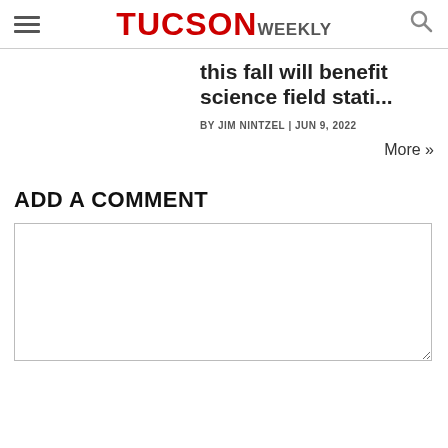TUCSON WEEKLY
this fall will benefit science field stati...
BY JIM NINTZEL | JUN 9, 2022
More »
ADD A COMMENT